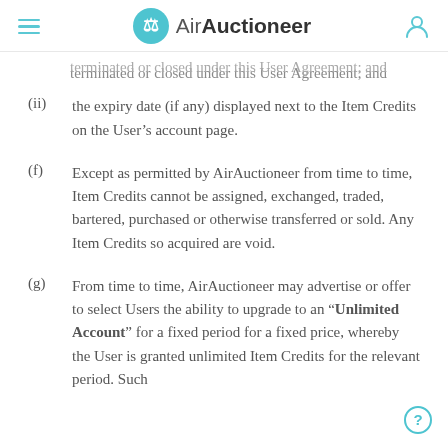AirAuctioneer
terminated or closed under this User Agreement; and
(ii) the expiry date (if any) displayed next to the Item Credits on the User's account page.
(f) Except as permitted by AirAuctioneer from time to time, Item Credits cannot be assigned, exchanged, traded, bartered, purchased or otherwise transferred or sold. Any Item Credits so acquired are void.
(g) From time to time, AirAuctioneer may advertise or offer to select Users the ability to upgrade to an "Unlimited Account" for a fixed period for a fixed price, whereby the User is granted unlimited Item Credits for the relevant period. Such